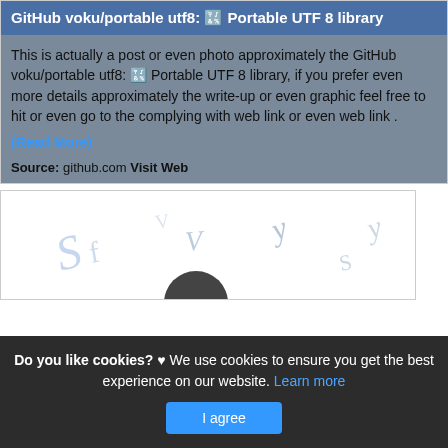GitHub voku/portable utf8: 🔣 Portable UTF 8 library
This is actually a post or even photo approximately the GitHub voku/portable utf8: 🔣 Portable UTF 8 library, if you prefer even more details approximately the write-up or even graphic feel free to hit or even go to the complying with web link or even web link .
(Read More)
Source: github.com Visit Web
[Figure (illustration): Decorative image with scattered blue letter/character marks on white background, with a dark circular shape at the bottom center.]
Do you like cookies? ♥ We use cookies to ensure you get the best experience on our website. Learn more
I agree